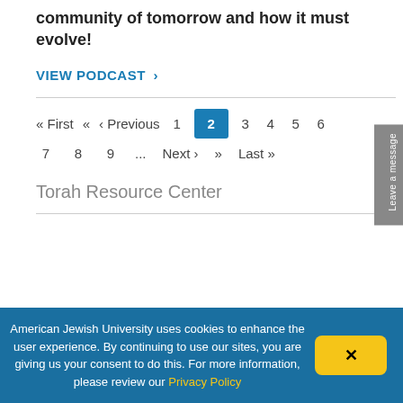community of tomorrow and how it must evolve!
VIEW PODCAST  >
« First  «  ‹ Previous  1  2  3  4  5  6  7  8  9  ...  Next ›  »  Last »
Torah Resource Center
American Jewish University uses cookies to enhance the user experience. By continuing to use our sites, you are giving us your consent to do this. For more information, please review our Privacy Policy